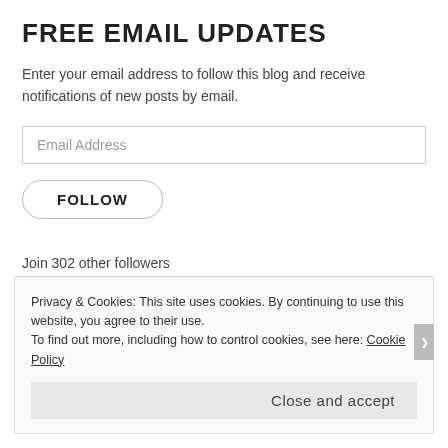FREE EMAIL UPDATES
Enter your email address to follow this blog and receive notifications of new posts by email.
Email Address
FOLLOW
Join 302 other followers
[Figure (other): WordPress Follow button: blue rounded rectangle with WordPress logo icon and text 'Follow Manjunath Rao']
Privacy & Cookies: This site uses cookies. By continuing to use this website, you agree to their use.
To find out more, including how to control cookies, see here: Cookie Policy
Close and accept